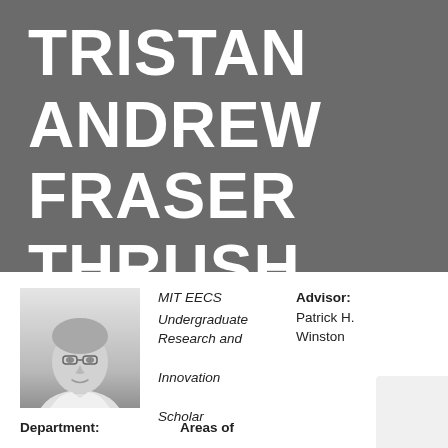TRISTAN ANDREW FRASER THRUSH
[Figure (photo): Black and white headshot photo of Tristan Andrew Fraser Thrush]
MIT EECS
Undergraduate Research and Innovation Scholar
Advisor:
Patrick H. Winston
Department:
Areas of